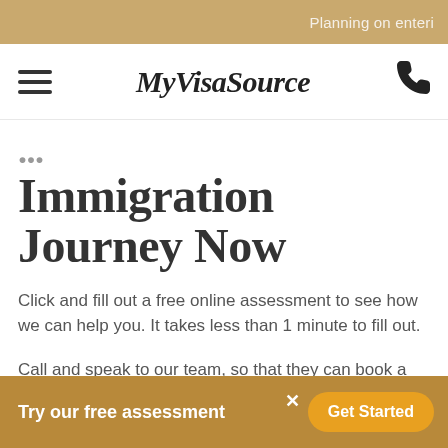Planning on enteri
[Figure (logo): Hamburger menu icon (three horizontal lines), MyVisaSource brand name in serif italic/bold font, and a phone handset icon]
Immigration Journey Now
Click and fill out a free online assessment to see how we can help you. It takes less than 1 minute to fill out.
Call and speak to our team, so that they can book a time with a licensed
Try our free assessment   Get Started